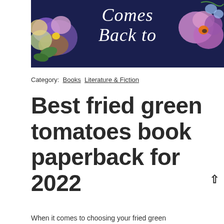[Figure (photo): Book cover image showing floral design with pansies on a dark navy background with white serif text reading 'Comes Back to']
Category:  Books  Literature & Fiction
Best fried green tomatoes book paperback for 2022
When it comes to choosing your fried green